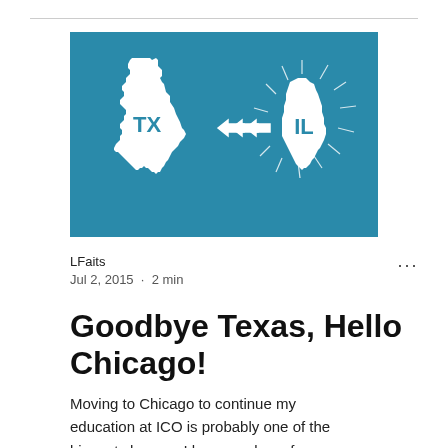[Figure (illustration): Teal/blue background illustration showing the state of Texas (white silhouette) with 'TX' inside it, arrows pointing right, and the state of Illinois (white silhouette) with 'IL' inside it and radiating lines around it, representing a move from Texas to Illinois.]
LFaits
Jul 2, 2015 · 2 min
Goodbye Texas, Hello Chicago!
Moving to Chicago to continue my education at ICO is probably one of the biggest changes I have made so far. Moving over 900 miles away from the place I've called home for 22 years is